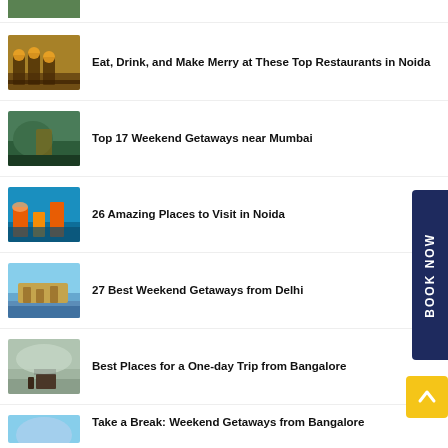[Figure (photo): Partially visible thumbnail of a landscape/outdoor scene, cropped at top]
Eat, Drink, and Make Merry at These Top Restaurants in Noida
Top 17 Weekend Getaways near Mumbai
26 Amazing Places to Visit in Noida
27 Best Weekend Getaways from Delhi
Best Places for a One-day Trip from Bangalore
Take a Break: Weekend Getaways from Bangalore